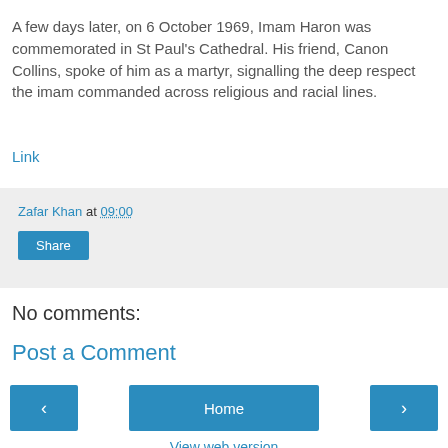A few days later, on 6 October 1969, Imam Haron was commemorated in St Paul's Cathedral. His friend, Canon Collins, spoke of him as a martyr, signalling the deep respect the imam commanded across religious and racial lines.
Link
Zafar Khan at 09:00
Share
No comments:
Post a Comment
Home
View web version